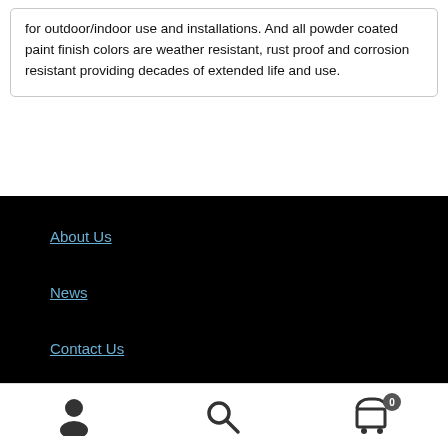for outdoor/indoor use and installations. And all powder coated paint finish colors are weather resistant, rust proof and corrosion resistant providing decades of extended life and use.
About Us
News
Contact Us
My Account
Full Product Line
Contact Us
[Figure (infographic): Bottom navigation bar with user account icon (person silhouette), search icon (magnifying glass), and shopping cart icon with badge showing 0]